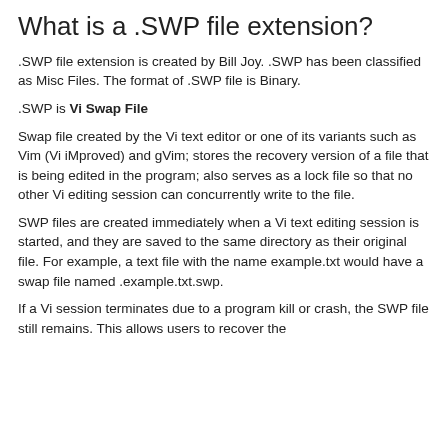What is a .SWP file extension?
.SWP file extension is created by Bill Joy. .SWP has been classified as Misc Files. The format of .SWP file is Binary.
.SWP is Vi Swap File
Swap file created by the Vi text editor or one of its variants such as Vim (Vi iMproved) and gVim; stores the recovery version of a file that is being edited in the program; also serves as a lock file so that no other Vi editing session can concurrently write to the file.
SWP files are created immediately when a Vi text editing session is started, and they are saved to the same directory as their original file. For example, a text file with the name example.txt would have a swap file named .example.txt.swp.
If a Vi session terminates due to a program kill or crash, the SWP file still remains. This allows users to recover the